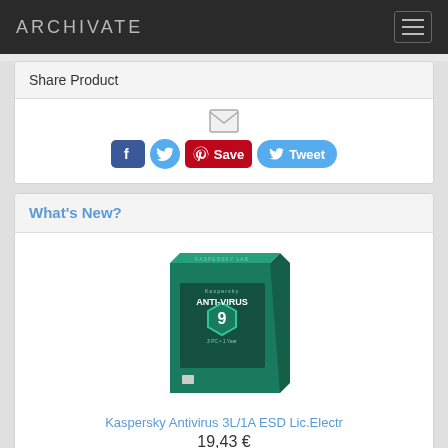ARCHIVATE
Share Product
[Figure (other): Social sharing buttons: email icon, Facebook button, Twitter icon, Pinterest Save button, Tweet button]
What's New?
[Figure (photo): Kaspersky Anti-Virus software box product image]
Kaspersky Antivirus 3L/1A ESD Lic.Electr
19,43 €